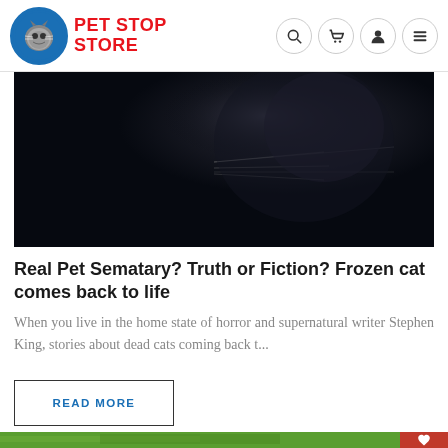Pet Stop Store
[Figure (photo): Close-up of a dark/black cat face against black background, whiskers visible]
Real Pet Sematary? Truth or Fiction? Frozen cat comes back to life
When you live in the home state of horror and supernatural writer Stephen King, stories about dead cats coming back t...
READ MORE
[Figure (photo): Green foliage/pine branches, partial view at bottom of page]